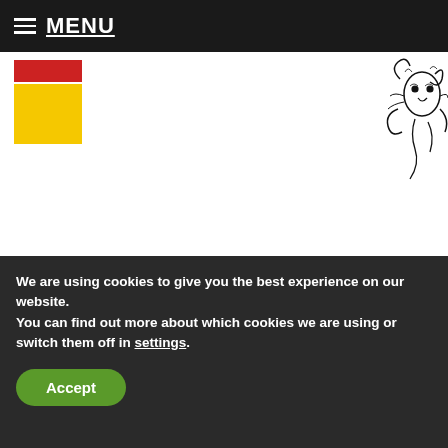MENU
[Figure (illustration): Two colored rectangle blocks (red on top, yellow below) forming a logo in the upper left]
[Figure (illustration): Decorative black-and-white floral/dragon illustration in the upper right corner]
Buddhism in the Colonial Period
Richard D. McBride
Guest Editor
[Figure (illustration): Decorative black-and-white floral illustration in the lower right]
We are using cookies to give you the best experience on our website.
You can find out more about which cookies we are using or switch them off in settings.
Accept